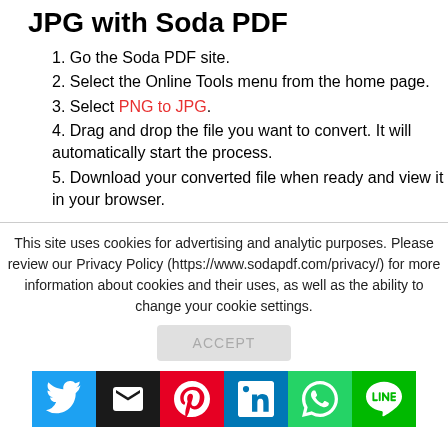JPG with Soda PDF
1. Go the Soda PDF site.
2. Select the Online Tools menu from the home page.
3. Select PNG to JPG.
4. Drag and drop the file you want to convert. It will automatically start the process.
5. Download your converted file when ready and view it in your browser.
This site uses cookies for advertising and analytic purposes. Please review our Privacy Policy (https://www.sodapdf.com/privacy/) for more information about cookies and their uses, as well as the ability to change your cookie settings.
[Figure (other): Accept button (greyed out)]
[Figure (other): Social sharing bar with Twitter, Email, Pinterest, LinkedIn, WhatsApp, and LINE buttons]